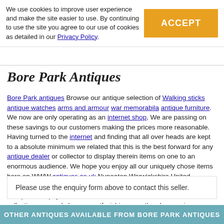We use cookies to improve user experience and make the site easier to use. By continuing to use the site you agree to our use of cookies as detailed in our Privacy Policy.
ACCEPT
Bore Park Antiques
Bore Park antiques Browse our antique selection of Walking sticks antique watches arms and armour war memorabila antique furniture. We now are only operating as an internet shop, We are passing on these savings to our customers making the prices more reasonable. Having turned to the internet and finding that all over heads are kept to a absolute minimum we related that this is the best forward for any antique dealer or collector to display therein items on one to an enormous audience. We hope you enjoy all our uniquely chose items here on WWW.antiques.co.uk Nuneaton Warwickshire United Kingdom Tel: 07505 165 843 International Tel: +44 7505 165 843 We accept online payments for all our items listed: Bank transfer cash on collection personal cheques or if wishing over the phone using your debit or credit cards, also doing layby payments plan, or email giving your address details & contact number and we shall send you your items invoice to make payment with your card. Send your request to - john.strong2@gmail.com
Please use the enquiry form above to contact this seller.
OTHER ANTIQUES AVAILABLE FROM BORE PARK ANTIQUES